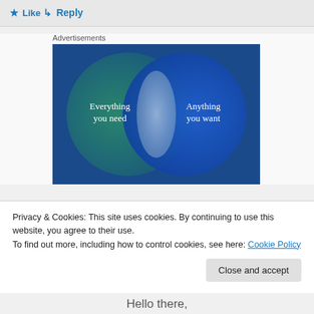Like
Reply
Advertisements
[Figure (illustration): Venn diagram with two overlapping circles on a blue-green gradient background. Left circle (teal/green) labeled 'Everything you need', right circle (blue) labeled 'Anything you want', with a white/light overlap area in the center.]
Privacy & Cookies: This site uses cookies. By continuing to use this website, you agree to their use.
To find out more, including how to control cookies, see here: Cookie Policy
Close and accept
Hello there,